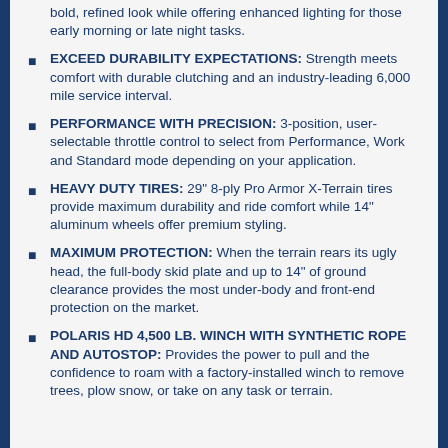bold, refined look while offering enhanced lighting for those early morning or late night tasks.
EXCEED DURABILITY EXPECTATIONS: Strength meets comfort with durable clutching and an industry-leading 6,000 mile service interval.
PERFORMANCE WITH PRECISION: 3-position, user-selectable throttle control to select from Performance, Work and Standard mode depending on your application.
HEAVY DUTY TIRES: 29" 8-ply Pro Armor X-Terrain tires provide maximum durability and ride comfort while 14" aluminum wheels offer premium styling.
MAXIMUM PROTECTION: When the terrain rears its ugly head, the full-body skid plate and up to 14" of ground clearance provides the most under-body and front-end protection on the market.
POLARIS HD 4,500 LB. WINCH WITH SYNTHETIC ROPE AND AUTOSTOP: Provides the power to pull and the confidence to roam with a factory-installed winch to remove trees, plow snow, or take on any task or terrain.